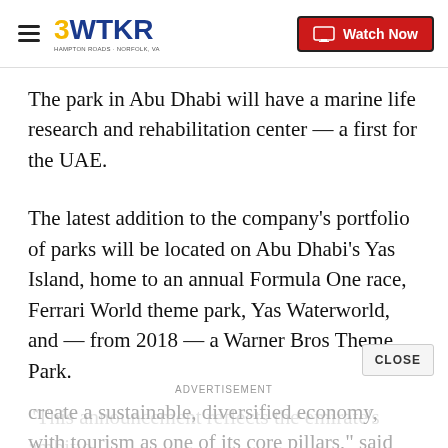3WTKR | Watch Now
The park in Abu Dhabi will have a marine life research and rehabilitation center — a first for the UAE.
The latest addition to the company's portfolio of parks will be located on Abu Dhabi's Yas Island, home to an annual Formula One race, Ferrari World theme park, Yas Waterworld, and — from 2018 — a Warner Bros Theme Park.
“This announcement reflects the emirate’s ambition to create a sustainable, diversified economy, with tourism as one of its core pillars,” said Mohamed Al Mubarak,